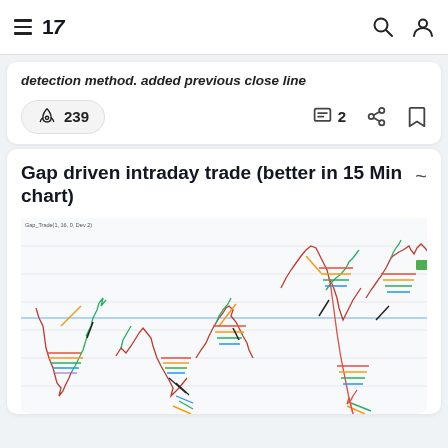TradingView navigation bar with hamburger menu, logo, search and profile icons
detection method. added previous close line
239 boost · 2 comments · share · bookmark
Gap driven intraday trade (better in 15 Min chart)
[Figure (screenshot): TradingView chart showing Gap_Trade indicator with colored lines marking gap-driven intraday trade signals on a candlestick price chart. Multiple colored horizontal and diagonal lines mark gap levels and entry signals across the chart. Price axis on right shows values from approximately 296.6 to 335.0.]